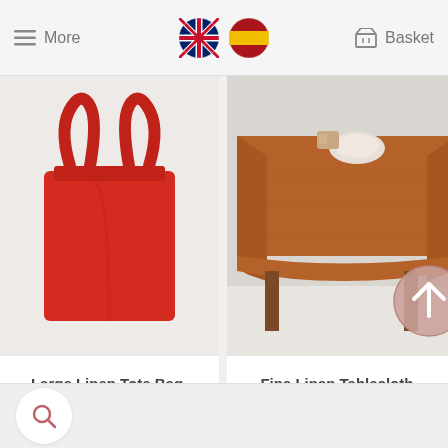More | [UK flag] [Spain flag] | Basket
[Figure (photo): Red linen tote bag with two handles on a light grey/white background]
[Figure (photo): Orange/caramel colored linen tablecloth draped over a wooden table with tableware visible on top]
Large Linen Tote Bag- Poppy
39,00€
Fine Linen Tablecloth - Caramel
From 76,00€
[Figure (other): Back to top circular arrow-up button in muted pink/mauve color]
Search (magnifying glass icon)